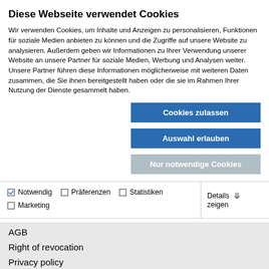Diese Webseite verwendet Cookies
Wir verwenden Cookies, um Inhalte und Anzeigen zu personalisieren, Funktionen für soziale Medien anbieten zu können und die Zugriffe auf unsere Website zu analysieren. Außerdem geben wir Informationen zu Ihrer Verwendung unserer Website an unsere Partner für soziale Medien, Werbung und Analysen weiter. Unsere Partner führen diese Informationen möglicherweise mit weiteren Daten zusammen, die Sie ihnen bereitgestellt haben oder die sie im Rahmen Ihrer Nutzung der Dienste gesammelt haben.
Cookies zulassen
Auswahl erlauben
Nur notwendige Cookies
| ☑ Notwendig | ☐ Präferenzen | ☐ Statistiken | Details zeigen ▾ |
| ☐ Marketing |  |  |  |
AGB
Right of revocation
Privacy policy